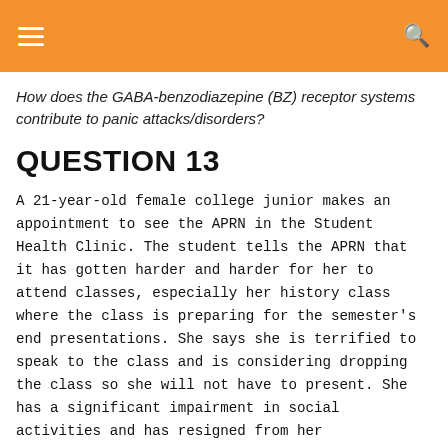How does the GABA-benzodiazepine (BZ) receptor systems contribute to panic attacks/disorders?
QUESTION 13
A 21-year-old female college junior makes an appointment to see the APRN in the Student Health Clinic. The student tells the APRN that it has gotten harder and harder for her to attend classes, especially her history class where the class is preparing for the semester's end presentations. She says she is terrified to speak to the class and is considering dropping the class so she will not have to present. She has a significant impairment in social activities and has resigned from her